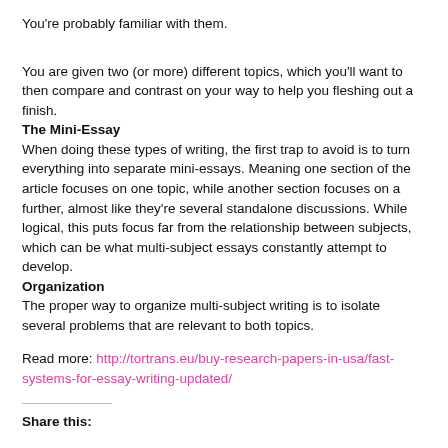You're probably familiar with them.
You are given two (or more) different topics, which you'll want to then compare and contrast on your way to help you fleshing out a finish.
The Mini-Essay
When doing these types of writing, the first trap to avoid is to turn everything into separate mini-essays. Meaning one section of the article focuses on one topic, while another section focuses on a further, almost like they're several standalone discussions. While logical, this puts focus far from the relationship between subjects, which can be what multi-subject essays constantly attempt to develop.
Organization
The proper way to organize multi-subject writing is to isolate several problems that are relevant to both topics.
Read more: http://tortrans.eu/buy-research-papers-in-usa/fast-systems-for-essay-writing-updated/
Share this: